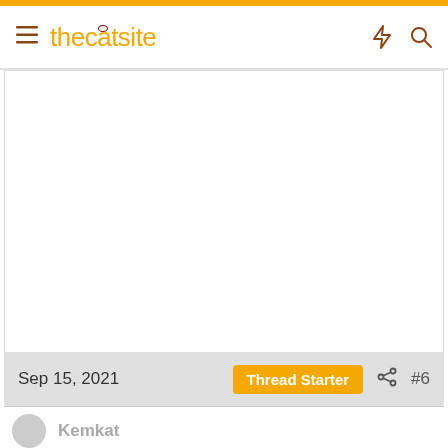thecatsite
Sep 15, 2021  Thread Starter  #6
Kemkat